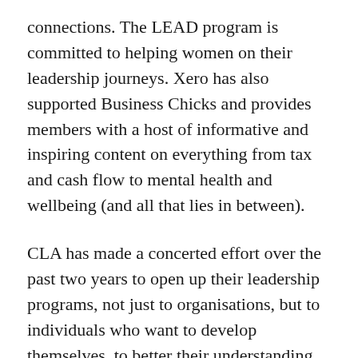connections. The LEAD program is committed to helping women on their leadership journeys. Xero has also supported Business Chicks and provides members with a host of informative and inspiring content on everything from tax and cash flow to mental health and wellbeing (and all that lies in between).
CLA has made a concerted effort over the past two years to open up their leadership programs, not just to organisations, but to individuals who want to develop themselves, to better their understanding of self and create pathways for success.